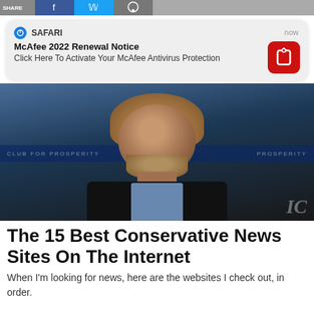[Figure (screenshot): Social share bar at top with Facebook, Twitter, and message buttons]
[Figure (infographic): Safari browser push notification popup: 'McAfee 2022 Renewal Notice - Click Here To Activate Your McAfee Antivirus Protection' with McAfee logo]
[Figure (photo): Photo of a middle-aged man with curly blond hair and beard wearing a dark jacket and blue shirt, standing in front of a dark blue banner background]
The 15 Best Conservative News Sites On The Internet
When I'm looking for news, here are the websites I check out, in order.